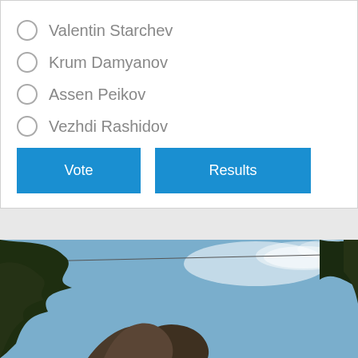Valentin Starchev
Krum Damyanov
Assen Peikov
Vezhdi Rashidov
Vote | Results
[Figure (photo): Outdoor photo showing dark tree branches and an arch-like stone structure against a partly cloudy blue sky, viewed from below.]